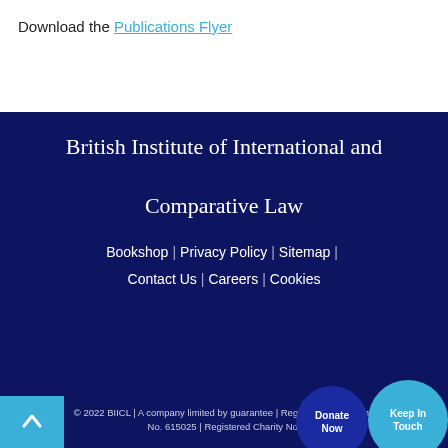Download the Publications Flyer
British Institute of International and Comparative Law
Bookshop | Privacy Policy | Sitemap | Contact Us | Careers | Cookies
© 2022 BIICL | A company limited by guarantee | Registered in England No. 615025 | Registered Charity No.